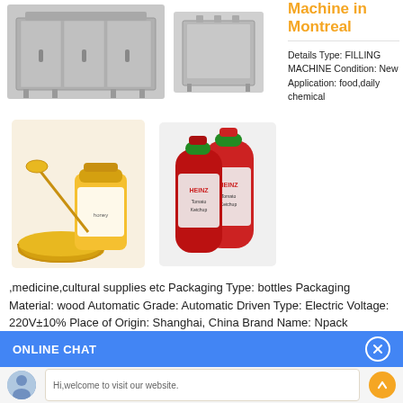[Figure (photo): Industrial filling machine equipment, two units shown from the front]
[Figure (photo): Honey jar with dipper and bowl, and two Heinz ketchup bottles]
Machine in Montreal
Details Type: FILLING MACHINE Condition: New Application: food,daily chemical ,medicine,cultural supplies etc Packaging Type: bottles Packaging Material: wood Automatic Grade: Automatic Driven Type: Electric Voltage: 220V±10% Place of Origin: Shanghai, China Brand Name: Npack Dimension(L*W*H): 1250*950*1005mm Weight: 380kg Certification: CE
ONLINE CHAT
Hi,welcome to visit our website.
Cilina